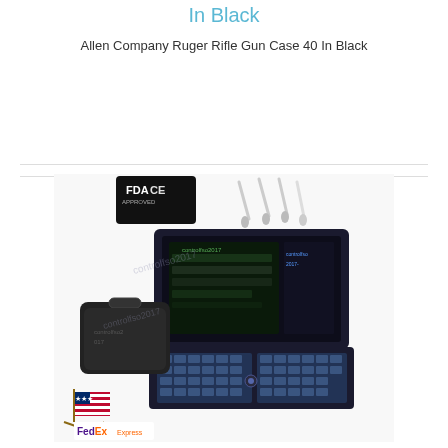In Black
Allen Company Ruger Rifle Gun Case 40 In Black
$63.69
[Figure (photo): Product listing image showing a portable ultrasound machine open with keyboard and screen, a carrying case, ultrasound probes, FDA CE approval badge, an American flag graphic, and FedEx Express logo. Watermark text 'controlfso2017' visible across image.]